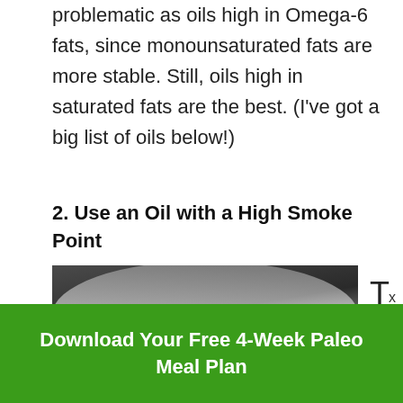problematic as oils high in Omega-6 fats, since monounsaturated fats are more stable. Still, oils high in saturated fats are the best. (I've got a big list of oils below!)
2. Use an Oil with a High Smoke Point
[Figure (photo): A pot on a stove releasing a large plume of white smoke or steam, kitchen background visible]
T h e
Download Your Free 4-Week Paleo Meal Plan